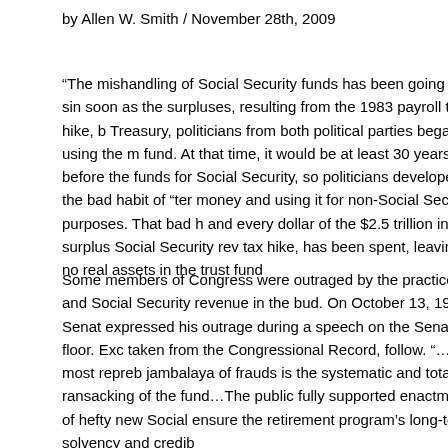by Allen W. Smith / November 28th, 2009
“The mishandling of Social Security funds has been going on since soon as the surpluses, resulting from the 1983 payroll tax hike, began flowing into the Treasury, politicians from both political parties began using the money to fund. At that time, it would be at least 30 years before the funds would be needed for Social Security, so politicians developed the bad habit of “temporarily borrowing” the money and using it for non-Social Security purposes. That bad habit continued, and every dollar of the $2.5 trillion in surplus Social Security revenue, generated by the tax hike, has been spent, leaving no real assets in the trust fund.
Some members of Congress were outraged by the practice and tried to nip the raiding of Social Security revenue in the bud. On October 13, 1989, Senator Ernest Hollings expressed his outrage during a speech on the Senate floor. Excerpts of that speech, taken from the Congressional Record, follow. “…the most reprehensible jambalaya of frauds is the systematic and total ransacking of the Social Security trust fund…The public fully supported enactment of hefty new Social Security taxes to ensure the retirement program’s long-term solvency and credibility.